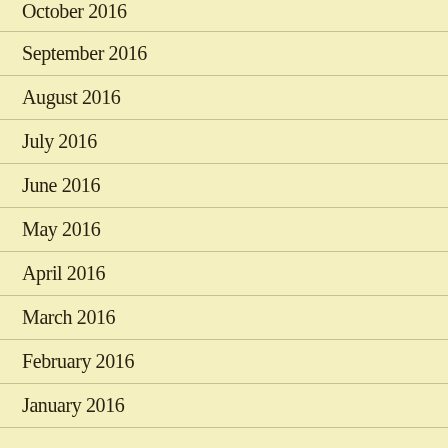October 2016
September 2016
August 2016
July 2016
June 2016
May 2016
April 2016
March 2016
February 2016
January 2016